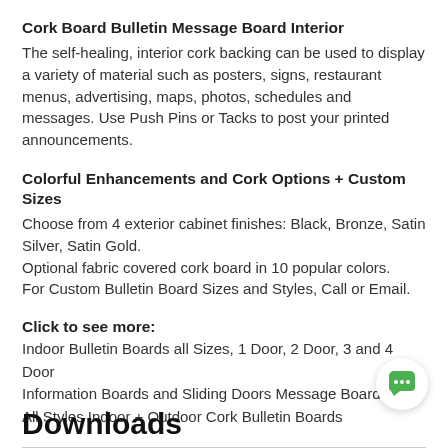Cork Board Bulletin Message Board Interior
The self-healing, interior cork backing can be used to display a variety of material such as posters, signs, restaurant menus, advertising, maps, photos, schedules and messages. Use Push Pins or Tacks to post your printed announcements.
Colorful Enhancements and Cork Options + Custom Sizes
Choose from 4 exterior cabinet finishes: Black, Bronze, Satin Silver, Satin Gold.
Optional fabric covered cork board in 10 popular colors.
For Custom Bulletin Board Sizes and Styles, Call or Email.
Click to see more:
Indoor Bulletin Boards all Sizes, 1 Door, 2 Door, 3 and 4 Door
Information Boards and Sliding Doors Message Boards,
All Styles Indoor + Outdoor Cork Bulletin Boards
Downloads